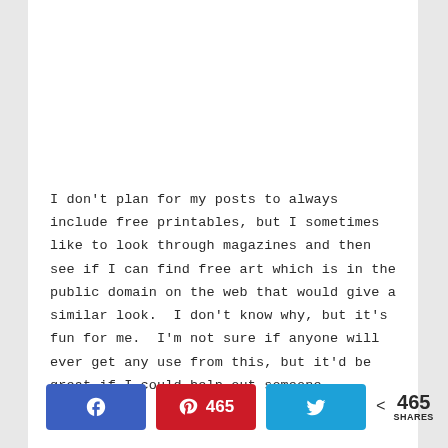I don't plan for my posts to always include free printables, but I sometimes like to look through magazines and then see if I can find free art which is in the public domain on the web that would give a similar look.  I don't know why, but it's fun for me.  I'm not sure if anyone will ever get any use from this, but it'd be great if I could help out someone.
[Figure (infographic): Social share bar with Facebook button, Pinterest button showing 465 count, Twitter button, and total share count of 465 SHARES]